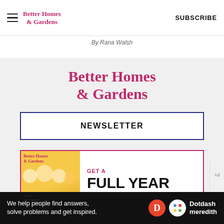Better Homes & Gardens | SUBSCRIBE
By Rana Walsh
[Figure (logo): Better Homes & Gardens logo centered in gray section]
NEWSLETTER
[Figure (illustration): Magazine subscription promo box with Better Homes & Gardens cover and 'GET A FULL YEAR' text]
We help people find answers, solve problems and get inspired. Dotdash meredith